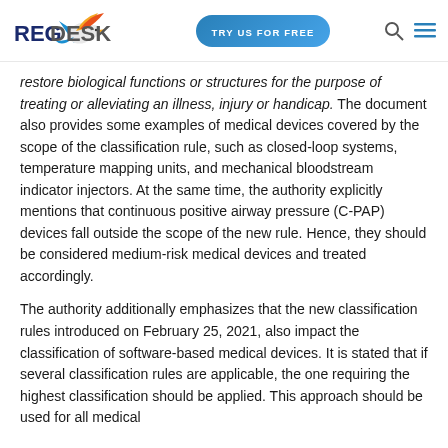REGDESK | TRY US FOR FREE
restore biological functions or structures for the purpose of treating or alleviating an illness, injury or handicap. The document also provides some examples of medical devices covered by the scope of the classification rule, such as closed-loop systems, temperature mapping units, and mechanical bloodstream indicator injectors. At the same time, the authority explicitly mentions that continuous positive airway pressure (C-PAP) devices fall outside the scope of the new rule. Hence, they should be considered medium-risk medical devices and treated accordingly.
The authority additionally emphasizes that the new classification rules introduced on February 25, 2021, also impact the classification of software-based medical devices. It is stated that if several classification rules are applicable, the one requiring the highest classification should be applied. This approach should be used for all medical